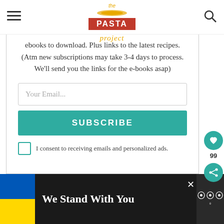the Pasta project
ebooks to download. Plus links to the latest recipes. (Atm new subscriptions may take 3-4 days to process. We'll send you the links for the e-books asap)
[Figure (screenshot): Email input field with placeholder 'Your Email...']
[Figure (screenshot): Subscribe button in teal/green color]
I consent to receiving emails and personalized ads.
[Figure (screenshot): Social sidebar with heart icon showing 99 likes and share button]
[Figure (screenshot): Ad banner at bottom: blue and yellow Ukrainian flag, text 'We Stand With You', close button, and media logo]